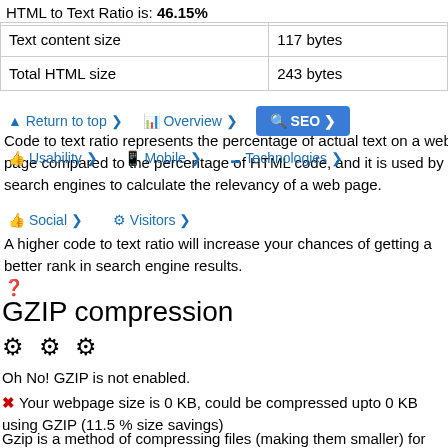HTML to Text Ratio is: 46.15%
| Text content size | 117 bytes |
| --- | --- |
| Total HTML size | 243 bytes |
Return to top | Overview | SEO | Usability | Mobile | Technologies | Social | Visitors
Code to text ratio represents the percentage of actual text on a web page compared to the percentage of HTML code, and it is used by search engines to calculate the relevancy of a web page.
A higher code to text ratio will increase your chances of getting a better rank in search engine results.
GZIP compression
⚙ ⚙ ⚙
Oh No! GZIP is not enabled.
✗ Your webpage size is 0 KB, could be compressed upto 0 KB using GZIP (11.5 % size savings)
Gzip is a method of compressing files (making them smaller) for faster network transfers.
It allows to reduce the size of web pages and any other typical web files